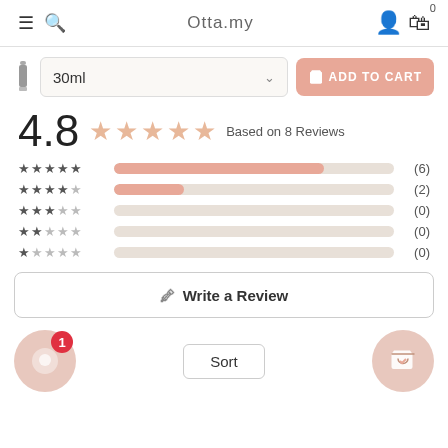Otta.my
30ml — ADD TO CART
4.8  Based on 8 Reviews
| Stars | Bar | Count |
| --- | --- | --- |
| ★★★★★ | 6/8 filled | (6) |
| ★★★★☆ | 2/8 filled | (2) |
| ★★★☆☆ | 0 | (0) |
| ★★☆☆☆ | 0 | (0) |
| ★☆☆☆☆ | 0 | (0) |
Write a Review
Sort